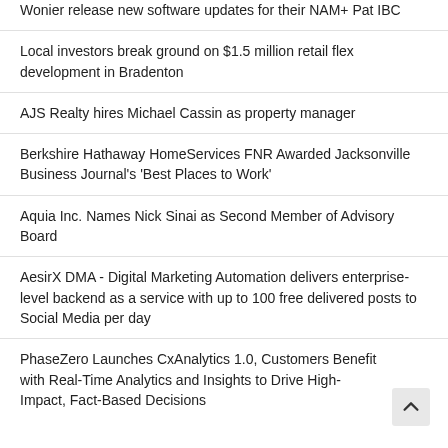Wonier release new software updates for their NAM+ Pat IBC
Local investors break ground on $1.5 million retail flex development in Bradenton
AJS Realty hires Michael Cassin as property manager
Berkshire Hathaway HomeServices FNR Awarded Jacksonville Business Journal's 'Best Places to Work'
Aquia Inc. Names Nick Sinai as Second Member of Advisory Board
AesirX DMA - Digital Marketing Automation delivers enterprise-level backend as a service with up to 100 free delivered posts to Social Media per day
PhaseZero Launches CxAnalytics 1.0, Customers Benefit with Real-Time Analytics and Insights to Drive High-Impact, Fact-Based Decisions